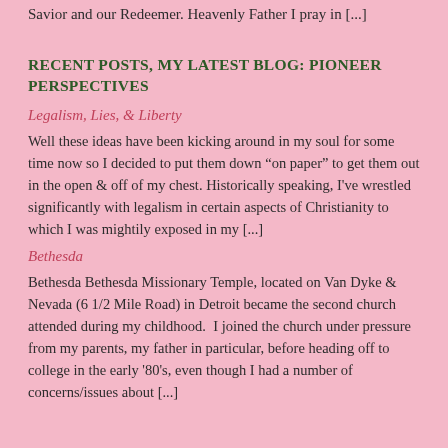Savior and our Redeemer. Heavenly Father I pray in [...]
RECENT POSTS, MY LATEST BLOG: PIONEER PERSPECTIVES
Legalism, Lies, & Liberty
Well these ideas have been kicking around in my soul for some time now so I decided to put them down “on paper” to get them out in the open & off of my chest. Historically speaking, I've wrestled significantly with legalism in certain aspects of Christianity to which I was mightily exposed in my [...]
Bethesda
Bethesda Bethesda Missionary Temple, located on Van Dyke & Nevada (6 1/2 Mile Road) in Detroit became the second church attended during my childhood.  I joined the church under pressure from my parents, my father in particular, before heading off to college in the early '80's, even though I had a number of concerns/issues about [...]